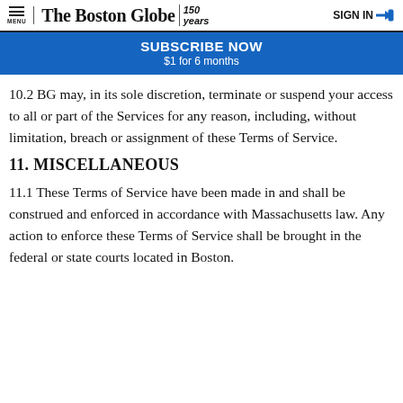The Boston Globe 150 years | SIGN IN
SUBSCRIBE NOW
$1 for 6 months
10.2 BG may, in its sole discretion, terminate or suspend your access to all or part of the Services for any reason, including, without limitation, breach or assignment of these Terms of Service.
11. MISCELLANEOUS
11.1 These Terms of Service have been made in and shall be construed and enforced in accordance with Massachusetts law. Any action to enforce these Terms of Service shall be brought in the federal or state courts located in Boston.